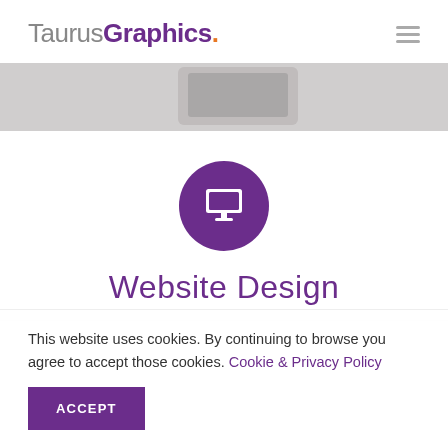TaurusGraphics.
[Figure (screenshot): Grey hero banner strip showing a partial view of a computer monitor/screen on a grey textured background]
[Figure (illustration): Purple circle icon containing a white desktop monitor/computer screen icon]
Website Design
This website uses cookies. By continuing to browse you agree to accept those cookies. Cookie & Privacy Policy
ACCEPT